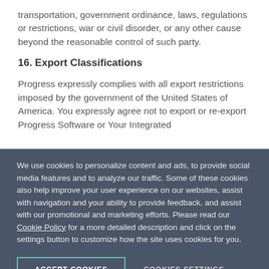transportation, government ordinance, laws, regulations or restrictions, war or civil disorder, or any other cause beyond the reasonable control of such party.
16. Export Classifications
Progress expressly complies with all export restrictions imposed by the government of the United States of America. You expressly agree not to export or re-export Progress Software or Your Integrated
We use cookies to personalize content and ads, to provide social media features and to analyze our traffic. Some of these cookies also help improve your user experience on our websites, assist with navigation and your ability to provide feedback, and assist with our promotional and marketing efforts. Please read our Cookie Policy for a more detailed description and click on the settings button to customize how the site uses cookies for you.
ACCEPT COOKIES
COOKIES SETTINGS